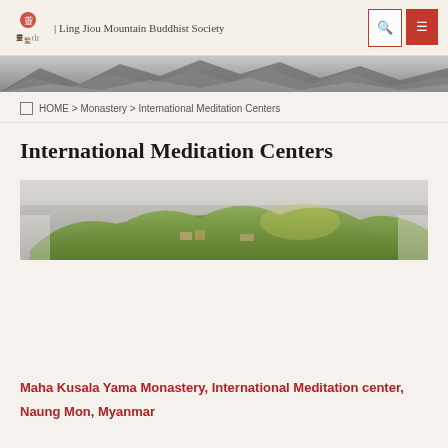Ling Jiou Mountain Buddhist Society
HOME > Monastery > International Meditation Centers
International Meditation Centers
[Figure (photo): Aerial or panoramic view of a forested monastery complex on a hillside with green vegetation and mist]
Maha Kusala Yama Monastery, International Meditation center, Naung Mon, Myanmar